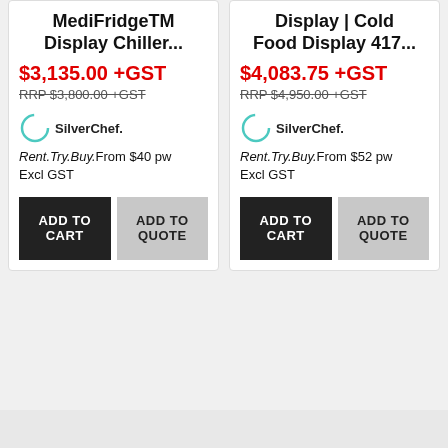MediFridgeTM Display Chiller...
$3,135.00 +GST
RRP $3,800.00 +GST
[Figure (logo): SilverChef logo with teal circle arc]
Rent.Try.Buy. From $40 pw Excl GST
ADD TO CART
ADD TO QUOTE
Display | Cold Food Display 417...
$4,083.75 +GST
RRP $4,950.00 +GST
[Figure (logo): SilverChef logo with teal circle arc]
Rent.Try.Buy. From $52 pw Excl GST
ADD TO CART
ADD TO QUOTE